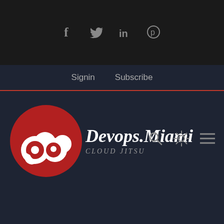[Figure (logo): Social media icons bar: f (Facebook), bird (Twitter), in (LinkedIn), pin (Pinterest) on dark background]
Signin  Subscribe
[Figure (logo): Devops.Miami Cloud Jitsu logo: red circle with white cloud/infinity symbol, italic white text Devops.Miami, gray italic text CLOUD JITSU below]
[Figure (other): Navigation icons: search (magnifying glass), brightness/settings (sun/gear), hamburger menu (three lines)]